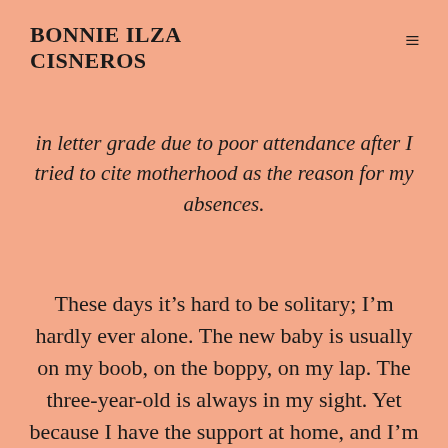BONNIE ILZA CISNEROS
in letter grade due to poor attendance after I tried to cite motherhood as the reason for my absences.
These days it’s hard to be solitary; I’m hardly ever alone. The new baby is usually on my boob, on the boppy, on my lap. The three-year-old is always in my sight. Yet because I have the support at home, and I’m learning to adapt my work habits, I am able to eke out time to have my nose in a book and get my hands